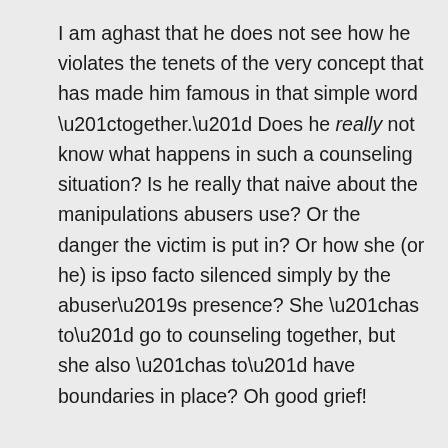I am aghast that he does not see how he violates the tenets of the very concept that has made him famous in that simple word “together.” Does he really not know what happens in such a counseling situation? Is he really that naive about the manipulations abusers use? Or the danger the victim is put in? Or how she (or he) is ipso facto silenced simply by the abuser’s presence? She “has to” go to counseling together, but she also “has to” have boundaries in place? Oh good grief!